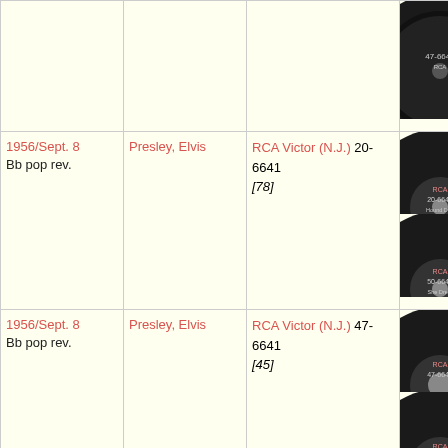| Date | Artist | Label/Number | Image |
| --- | --- | --- | --- |
|  |  |  |  |
| 1956/Sept. 8
Bb pop rev. | Presley, Elvis | RCA Victor (N.J.) 20-6641 [78] | record images |
| 1956/Sept. 8
Bb pop rev. | Presley, Elvis | RCA Victor (N.J.) 47-6641 [45] | record images |